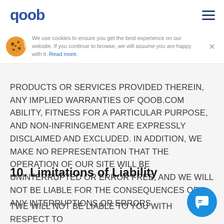qoob [logo] [hamburger menu]
We use cookies to ensure you get the best experience on our website. If you continue to browse, we will assume you are happy with it. Read more.
PRODUCTS OR SERVICES PROVIDED THEREIN, ANY IMPLIED WARRANTIES OF QOOB.COM ABILITY, FITNESS FOR A PARTICULAR PURPOSE, AND NON-INFRINGEMENT ARE EXPRESSLY DISCLAIMED AND EXCLUDED. IN ADDITION, WE MAKE NO REPRESENTATION THAT THE OPERATION OF OUR SITE WILL BE UNINTERRUPTED OR ERROR FREE, AND WE WILL NOT BE LIABLE FOR THE CONSEQUENCES OF ANY INTERRUPTIONS OR ERRORS.
10. Limitations of Liability
TWE WILL NOT BE LIABLE TO YOU WITH RESPECT TO